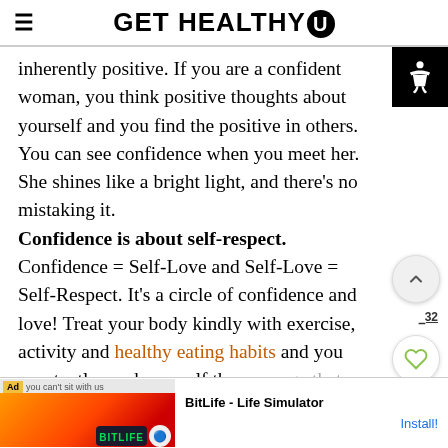GET HEALTHY U
inherently positive. If you are a confident woman, you think positive thoughts about yourself and you find the positive in others. You can see confidence when you meet her. She shines like a bright light, and there’s no mistaking it.
Confidence is about self-respect. Confidence = Self-Love and Self-Love = Self-Respect. It’s a circle of confidence and love! Treat your body kindly with exercise, activity and healthy eating habits and you constantly send yourself the message that you matter. You know your body is counting on you
[Figure (screenshot): BitLife - Life Simulator advertisement banner at the bottom of the page]